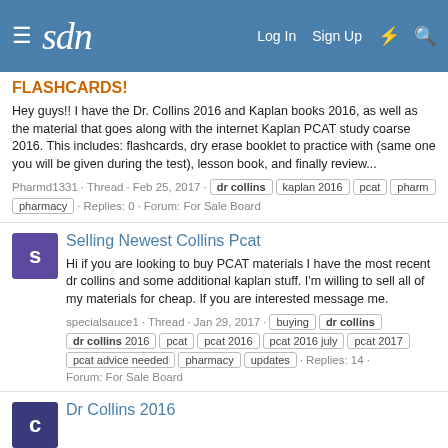sdn — Log In  Sign Up
FLASHCARDS!
Hey guys!! I have the Dr. Collins 2016 and Kaplan books 2016, as well as the material that goes along with the internet Kaplan PCAT study coarse 2016. This includes: flashcards, dry erase booklet to practice with (same one you will be given during the test), lesson book, and finally review...
Pharmd1331 · Thread · Feb 25, 2017 · dr collins  kaplan 2016  pcat  pharm  pharmacy · Replies: 0 · Forum: For Sale Board
Selling Newest Collins Pcat
Hi if you are looking to buy PCAT materials I have the most recent dr collins and some additional kaplan stuff. I'm willing to sell all of my materials for cheap. If you are interested message me.
specialsauce1 · Thread · Jan 29, 2017 · buying  dr collins  dr collins 2016  pcat  pcat 2016  pcat 2016 july  pcat 2017  pcat advice needed  pharmacy  updates · Replies: 14 · Forum: For Sale Board
Dr Collins 2016